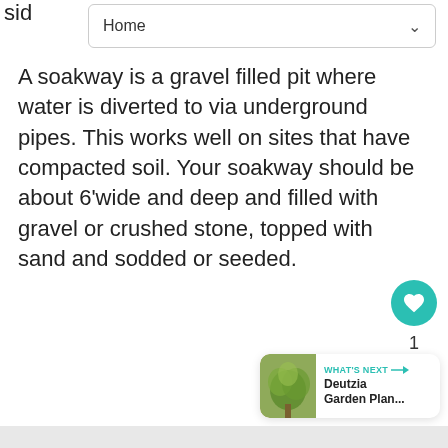sid Home
A soakway is a gravel filled pit where water is diverted to via underground pipes. This works well on sites that have compacted soil. Your soakway should be about 6'wide and deep and filled with gravel or crushed stone, topped with sand and sodded or seeded.
[Figure (infographic): Floating action buttons: heart/like button (teal circle with heart icon), count label '1', and share button (white circle with share icon)]
[Figure (infographic): WHAT'S NEXT card showing a thumbnail of a plant and text 'Deutzia Garden Plan...' with a teal arrow label]